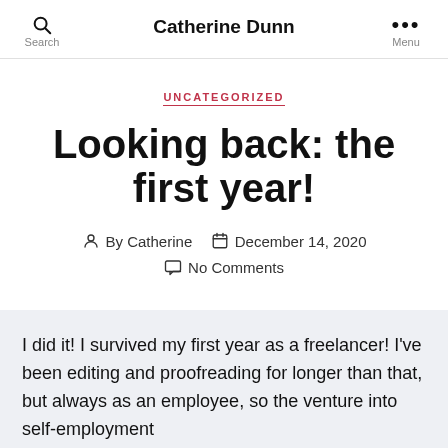Catherine Dunn
UNCATEGORIZED
Looking back: the first year!
By Catherine   December 14, 2020
No Comments
I did it! I survived my first year as a freelancer! I've been editing and proofreading for longer than that, but always as an employee, so the venture into self-employment